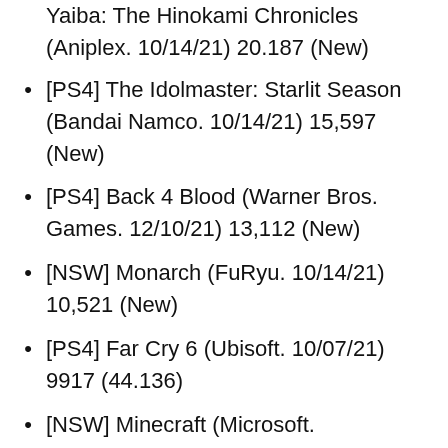Yaiba: The Hinokami Chronicles (Aniplex. 10/14/21) 20.187 (New)
[PS4] The Idolmaster: Starlit Season (Bandai Namco. 10/14/21) 15,597 (New)
[PS4] Back 4 Blood (Warner Bros. Games. 12/10/21) 13,112 (New)
[NSW] Monarch (FuRyu. 10/14/21) 10,521 (New)
[PS4] Far Cry 6 (Ubisoft. 10/07/21) 9917 (44.136)
[NSW] Minecraft (Microsoft.